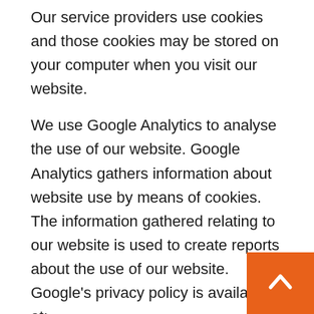Our service providers use cookies and those cookies may be stored on your computer when you visit our website.
We use Google Analytics to analyse the use of our website. Google Analytics gathers information about website use by means of cookies. The information gathered relating to our website is used to create reports about the use of our website. Google's privacy policy is available at: https://www.google.com/policies/privacy/.
Cloudflare is used to identify malicious visitors to our website, to reduce the chance of blocking legitimate users, and to provide customised services. For these purposes, Cloudflare uses a cookie. Find out more about the Cloudflare cookies at